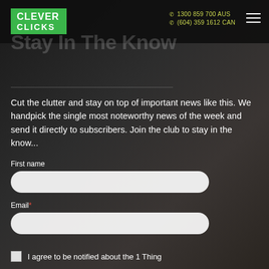[Figure (logo): Clever Clicks logo — white text on green background with two lines: CLEVER (bold) and CLICKS (spaced)]
1300 859 700 AUS
(604) 359 1612 CAN
Stay In The Know
Cut the clutter and stay on top of important news like this. We handpick the single most noteworthy news of the week and send it directly to subscribers. Join the club to stay in the know...
First name
Email*
I agree to be notified about the 1 Thing